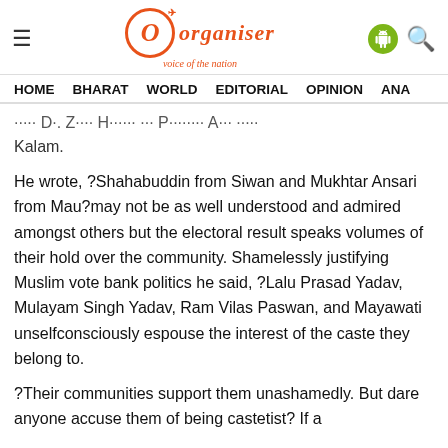Organiser – voice of the nation
HOME  BHARAT  WORLD  EDITORIAL  OPINION  ANA
…than Dr. Zakir Hussain and President A.P.J. Abdul Kalam.
He wrote, ?Shahabuddin from Siwan and Mukhtar Ansari from Mau?may not be as well understood and admired amongst others but the electoral result speaks volumes of their hold over the community. Shamelessly justifying Muslim vote bank politics he said, ?Lalu Prasad Yadav, Mulayam Singh Yadav, Ram Vilas Paswan, and Mayawati unselfconsciously espouse the interest of the caste they belong to.
?Their communities support them unashamedly. But dare anyone accuse them of being castetist? If a